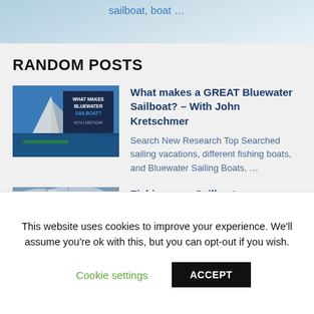sailboat, boat …
RANDOM POSTS
[Figure (photo): Thumbnail image of a sailboat book cover titled 'What Makes a Bluewater Sailboat?' with ocean background]
What makes a GREAT Bluewater Sailboat? – With John Kretschmer
Search New Research Top Searched sailing vacations, different fishing boats, and Bluewater Sailing Boats, …
[Figure (photo): Thumbnail photo of people on a sailboat fishing, selfie style with smiling people]
Fishing on a Sailboat
Get More Stories Relevant to different fishing boats, deep sea fishing
This website uses cookies to improve your experience. We'll assume you're ok with this, but you can opt-out if you wish.
Cookie settings
ACCEPT